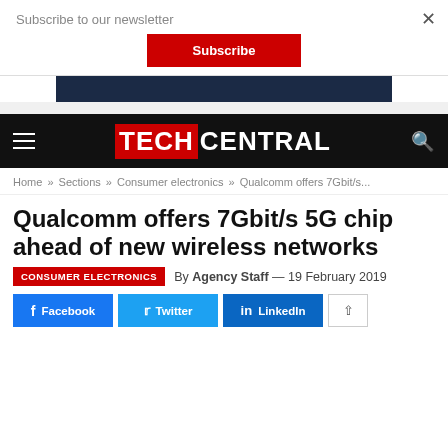Subscribe to our newsletter
Subscribe
[Figure (screenshot): Dark advertisement banner]
TECHCENTRAL navigation bar with hamburger menu and search icon
Home » Sections » Consumer electronics » Qualcomm offers 7Gbit/s...
Qualcomm offers 7Gbit/s 5G chip ahead of new wireless networks
CONSUMER ELECTRONICS  By Agency Staff — 19 February 2019
Facebook  Twitter  LinkedIn